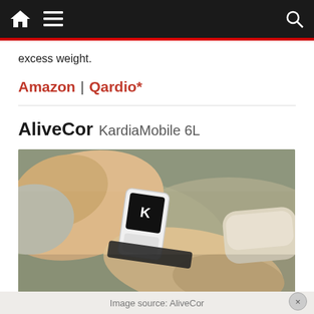Navigation bar with home, menu, and search icons
excess weight.
Amazon | Qardio*
AliveCor KardiaMobile 6L
[Figure (photo): Hands holding and placing an AliveCor KardiaMobile 6L ECG device on a wrist, showing the small white device with a black screen and logo.]
Image source: AliveCor